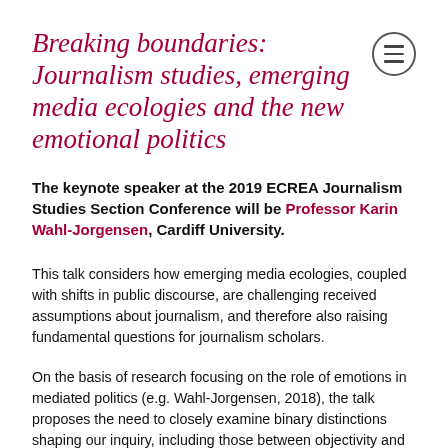Breaking boundaries: Journalism studies, emerging media ecologies and the new emotional politics
The keynote speaker at the 2019 ECREA Journalism Studies Section Conference will be Professor Karin Wahl-Jorgensen, Cardiff University.
This talk considers how emerging media ecologies, coupled with shifts in public discourse, are challenging received assumptions about journalism, and therefore also raising fundamental questions for journalism scholars.
On the basis of research focusing on the role of emotions in mediated politics (e.g. Wahl-Jorgensen, 2018), the talk proposes the need to closely examine binary distinctions shaping our inquiry, including those between objectivity and emotionality, and